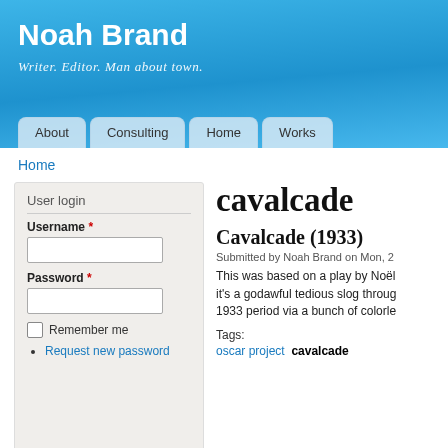Noah Brand
Writer. Editor. Man about town.
About | Consulting | Home | Works
Home
User login
Username *
Password *
Remember me
Request new password
cavalcade
Cavalcade (1933)
Submitted by Noah Brand on Mon, 2
This was based on a play by Noël it's a godawful tedious slog through 1933 period via a bunch of colorle
Tags:
oscar project   cavalcade